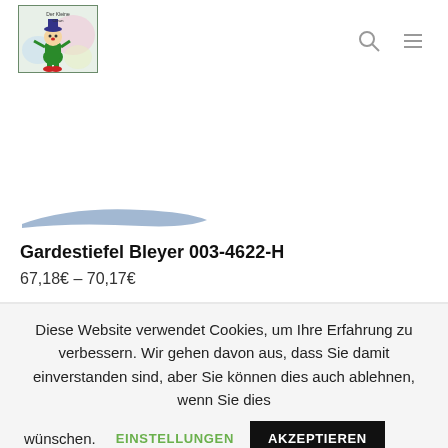[Figure (logo): Clown mascot logo for a children's costume/dance shop, colorful illustration with green clown figure]
[Figure (illustration): Product image partial view — stylized shadow/silhouette of a boot at the bottom of the image area]
Gardestiefel Bleyer 003-4622-H
67,18€ – 70,17€
Diese Website verwendet Cookies, um Ihre Erfahrung zu verbessern. Wir gehen davon aus, dass Sie damit einverstanden sind, aber Sie können dies auch ablehnen, wenn Sie dies wünschen.
EINSTELLUNGEN
AKZEPTIEREN